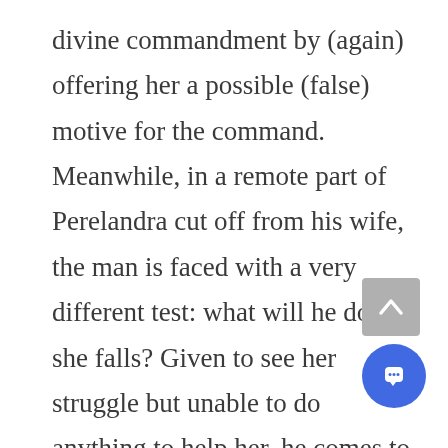divine commandment by (again) offering her a possible (false) motive for the command. Meanwhile, in a remote part of Perelandra cut off from his wife, the man is faced with a very different test: what will he do if she falls? Given to see her struggle but unable to do anything to help her, he comes to a decision of what he would do if she were to fall. He is faced with the same gut-wrenching affection for his wife as Adam, but determines that even if she falls, he must not follow her, even means their separation. He realizes that